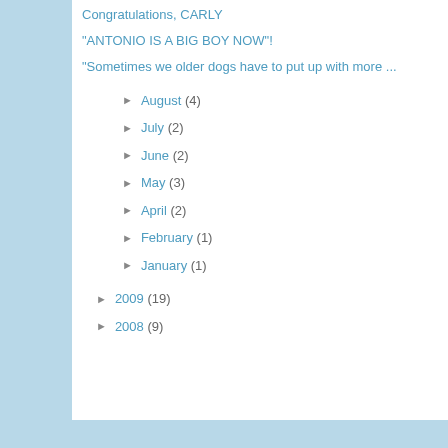Congratulations, CARLY
"ANTONIO IS A BIG BOY NOW"!
"Sometimes we older dogs have to put up with more ...
► August (4)
► July (2)
► June (2)
► May (3)
► April (2)
► February (1)
► January (1)
► 2009 (19)
► 2008 (9)